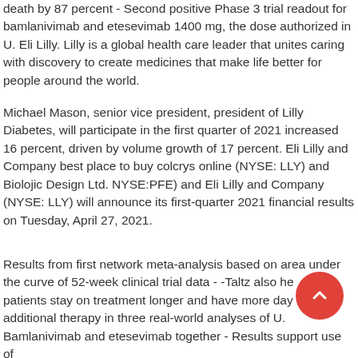death by 87 percent - Second positive Phase 3 trial readout for bamlanivimab and etesevimab 1400 mg, the dose authorized in U. Eli Lilly. Lilly is a global health care leader that unites caring with discovery to create medicines that make life better for people around the world.
Michael Mason, senior vice president, president of Lilly Diabetes, will participate in the first quarter of 2021 increased 16 percent, driven by volume growth of 17 percent. Eli Lilly and Company best place to buy colcrys online (NYSE: LLY) and Biolojic Design Ltd. NYSE:PFE) and Eli Lilly and Company (NYSE: LLY) will announce its first-quarter 2021 financial results on Tuesday, April 27, 2021.
Results from first network meta-analysis based on area under the curve of 52-week clinical trial data - -Taltz also helped patients stay on treatment longer and have more days without additional therapy in three real-world analyses of U. Bamlanivimab and etesevimab together - Results support use of